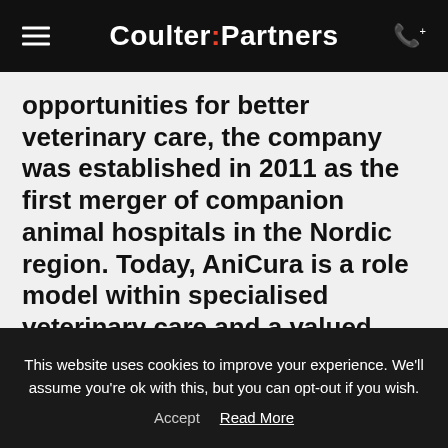Coulter:Partners
opportunities for better veterinary care, the company was established in 2011 as the first merger of companion animal hospitals in the Nordic region. Today, AniCura is a role model within specialised veterinary care and a valued partner for pet owners and referring veterinarians across Europe. AniCura offers a wide range of high-quality medical
This website uses cookies to improve your experience. We'll assume you're ok with this, but you can opt-out if you wish. Accept  Read More